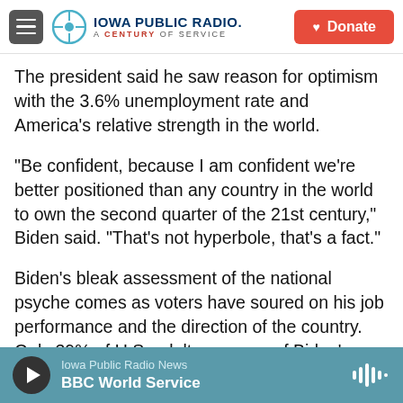Iowa Public Radio. A Century of Service
The president said he saw reason for optimism with the 3.6% unemployment rate and America's relative strength in the world.
"Be confident, because I am confident we're better positioned than any country in the world to own the second quarter of the 21st century," Biden said. "That's not hyperbole, that's a fact."
Biden's bleak assessment of the national psyche comes as voters have soured on his job performance and the direction of the country. Only 39% of U.S. adults approve of Biden's performance as president, according to a May poll from The
Iowa Public Radio News
BBC World Service